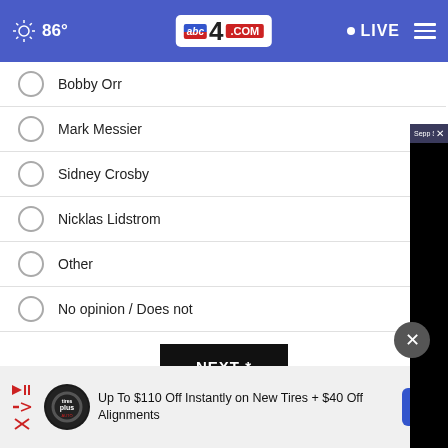86° abc4.com LIVE
Bobby Orr
Mark Messier
Sidney Crosby
Nicklas Lidstrom
Other
No opinion / Does not
[Figure (screenshot): Floating video player overlay: 'Sepp Straka makes birdie on No. 4 in Ro...' with mute button and loading spinner on black background]
NEXT *
* By clicking "NEXT" you agree to the following: We use cookies to track your survey answers. If you would like to continue with this survey, please read and agree to the CivicScience Privacy Policy and Terms of Service
[Figure (screenshot): Advertisement: Up To $110 Off Instantly on New Tires + $40 Off Alignments with Tires Plus logo and navigation icon]